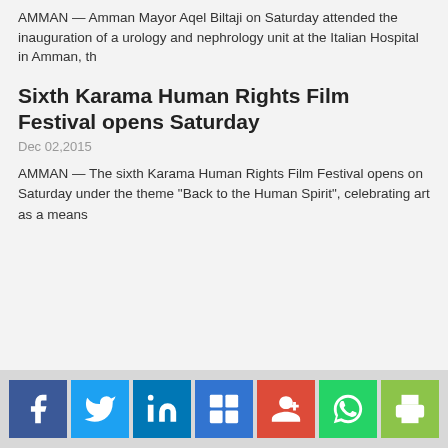AMMAN — Amman Mayor Aqel Biltaji on Saturday attended the inauguration of a urology and nephrology unit at the Italian Hospital in Amman, th
Sixth Karama Human Rights Film Festival opens Saturday
Dec 02,2015
AMMAN — The sixth Karama Human Rights Film Festival opens on Saturday under the theme "Back to the Human Spirit", celebrating art as a means
[Figure (infographic): Social media sharing icons row: Facebook, Twitter, LinkedIn, Delicious, Google+, WhatsApp, Print]